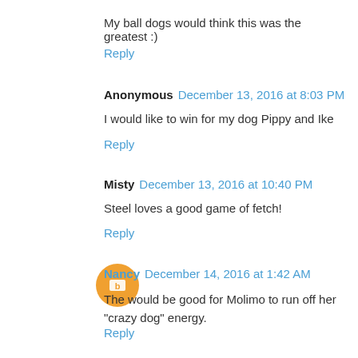My ball dogs would think this was the greatest :)
Reply
Anonymous  December 13, 2016 at 8:03 PM
I would like to win for my dog Pippy and Ike
Reply
Misty  December 13, 2016 at 10:40 PM
Steel loves a good game of fetch!
Reply
Nancy  December 14, 2016 at 1:42 AM
The would be good for Molimo to run off her "crazy dog" energy.
Reply